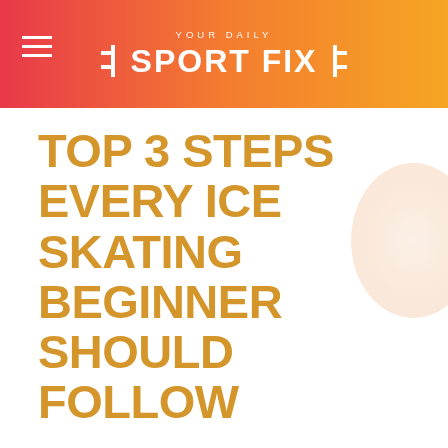YOUR DAILY SPORT FIX
TOP 3 STEPS EVERY ICE SKATING BEGINNER SHOULD FOLLOW
By Ava K - December 7, 2018